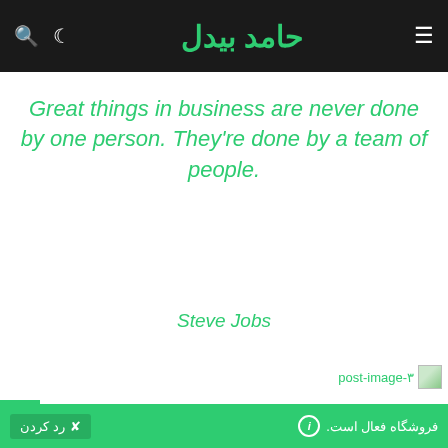حامد بیدل
Great things in business are never done by one person. They're done by a team of people.
Steve Jobs
post-image-۳
ey never said winning was easy. Some people can't handle
فروشگاه فعال است.
رد کردن